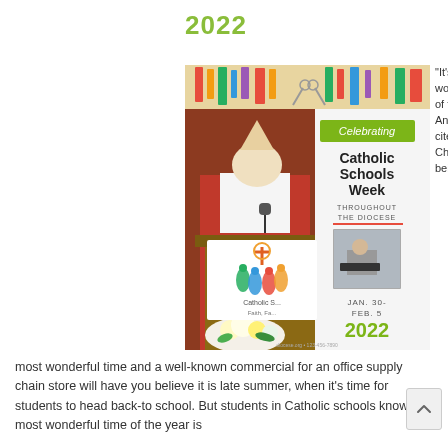2022
[Figure (photo): Catholic Schools Week 2022 promotional poster combined with a photo of a bishop in red vestments speaking at a pulpit with flowers and Catholic Schools Week signage. Poster reads: Celebrating Catholic Schools Week Throughout the Diocese, Jan. 30 - Feb. 5, 2022]
“It’s the most wonderful time of the year!” Andy Williams cites Christmas as being the most wonderful time and a well-known commercial for an office supply chain store will have you believe it is late summer, when it’s time for students to head back-to school. But students in Catholic schools know the most wonderful time of the year is
[Figure (other): Scroll up arrow button]